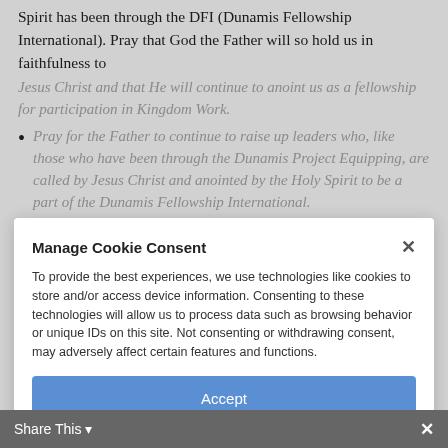Spirit has been through the DFI (Dunamis Fellowship International). Pray that God the Father will so hold us in faithfulness to
Jesus Christ and that He will continue to anoint us as a fellowship for participation in Kingdom Work.
Pray for the Father to continue to raise up leaders who, like those who have been through the Dunamis Project Equipping, are called by Jesus Christ and anointed by the Holy Spirit to be a part of the Dunamis Fellowship International.
Pray that the Lord will bless, grow and provide for the various national expressions of the DFI (Dunamis Fellowship Alaska, DF Canada, DF Britain and Ireland, Korea DFI Network, DF...
Manage Cookie Consent — To provide the best experiences, we use technologies like cookies to store and/or access device information. Consenting to these technologies will allow us to process data such as browsing behavior or unique IDs on this site. Not consenting or withdrawing consent, may adversely affect certain features and functions.
Accept
Opt-out preferences   Terms of Service | Privacy Policy
Share This